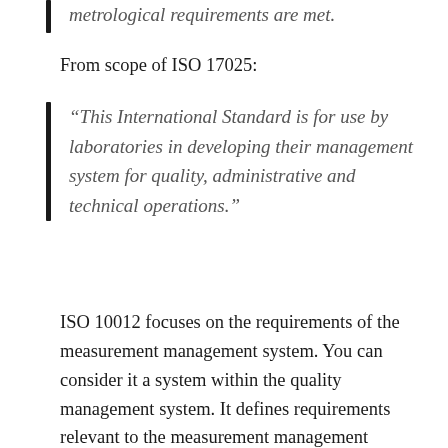metrological requirements are met.
From scope of ISO 17025:
“This International Standard is for use by laboratories in developing their management system for quality, administrative and technical operations.”
ISO 10012 focuses on the requirements of the measurement management system. You can consider it a system within the quality management system. It defines requirements relevant to the measurement management system in language that may illustrate interrelations to other parts of an overall